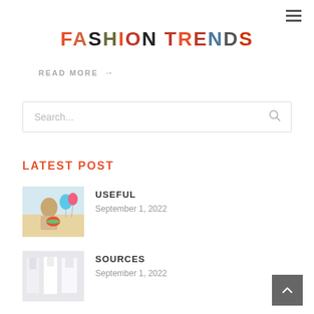FASHION TRENDS
READ MORE →
Search...
LATEST POST
[Figure (photo): Person holding a watermelon slice with balloons in background]
USEFUL
September 1, 2022
[Figure (photo): Three white dresses displayed on mannequins or hangers]
SOURCES
September 1, 2022